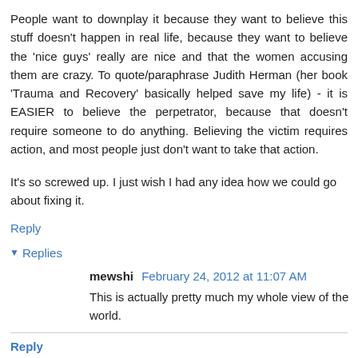People want to downplay it because they want to believe this stuff doesn't happen in real life, because they want to believe the 'nice guys' really are nice and that the women accusing them are crazy. To quote/paraphrase Judith Herman (her book 'Trauma and Recovery' basically helped save my life) - it is EASIER to believe the perpetrator, because that doesn't require someone to do anything. Believing the victim requires action, and most people just don't want to take that action.
It's so screwed up. I just wish I had any idea how we could go about fixing it.
Reply
▼ Replies
mewshi February 24, 2012 at 11:07 AM
This is actually pretty much my whole view of the world.
Reply